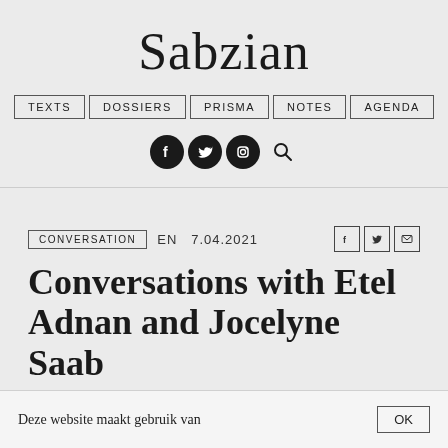Sabzian
TEXTS | DOSSIERS | PRISMA | NOTES | AGENDA
[Figure (infographic): Social media icons: Facebook, Twitter, Instagram circles and a search magnifier icon]
CONVERSATION   EN   7.04.2021
Conversations with Etel Adnan and Jocelyne Saab
OLIVIER HADOUCHI | 2014
Deze website maakt gebruik van
OK